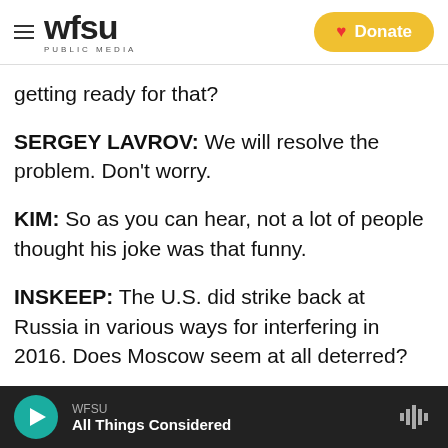WFSU Public Media | Donate
getting ready for that?
SERGEY LAVROV: We will resolve the problem. Don't worry.
KIM: So as you can hear, not a lot of people thought his joke was that funny.
INSKEEP: The U.S. did strike back at Russia in various ways for interfering in 2016. Does Moscow seem at all deterred?
KIM: Exactly. The U.S. struck back with sanctions. But I wouldn't say Moscow is deterred. There's
WFSU — All Things Considered